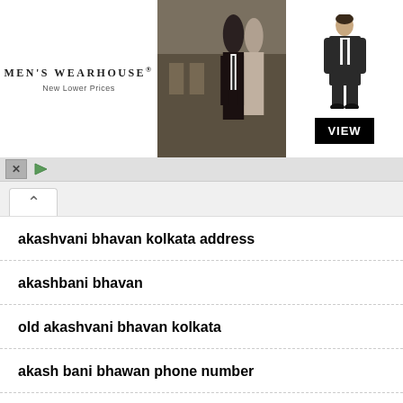[Figure (screenshot): Men's Wearhouse advertisement banner with couple in formal wear and a man in suit with VIEW button]
akashvani bhavan kolkata address
akashbani bhavan
old akashvani bhavan kolkata
akash bani bhawan phone number
akash vani office in kolkata employee contact number
akask vani office kolkata
akashvani bhavan kolkata phone number
akash vidya bhavan contact numbers